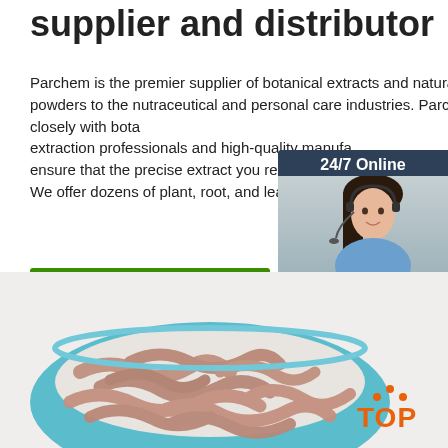supplier and distributor
Parchem is the premier supplier of botanical extracts and natural botanical powders to the nutraceutical and personal care industries. Parchem works closely with botanical extraction professionals and high-quality manufacturers to ensure that the precise extract you require is ready for you. We offer dozens of plant, root, and leaf extracts i
[Figure (other): Green 'Get Price' button]
[Figure (photo): 24/7 Online chat widget with woman wearing headset, and QUOTATION button]
[Figure (photo): Photo of earthworms/finger-like botanical roots in a blue bowl]
[Figure (logo): Orange TOP logo with dots forming a triangle above the text]